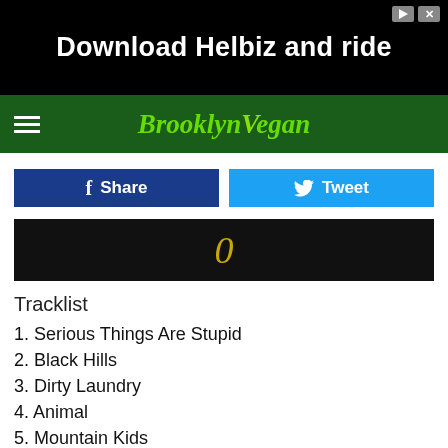[Figure (photo): Advertisement banner for Helbiz with dark background showing bicycle handlebars and text 'Download Helbiz and ride']
BrooklynVegan navigation bar with hamburger menu
[Figure (photo): Dark video thumbnail with cursive gold text]
Tracklist
1. Serious Things Are Stupid
2. Black Hills
3. Dirty Laundry
4. Animal
5. Mountain Kids
6. Madame B
7. Scott Get The Van, I'm Moving
8. (partially visible)